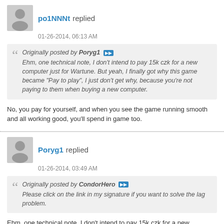po1NNNt replied
01-26-2014, 06:13 AM
Originally posted by Poryg1 — Ehm, one technical note, I don't intend to pay 15k czk for a new computer just for Wartune. But yeah, I finally got why this game became "Pay to play", I just don't get why, because you're not paying to them when buying a new computer.
No, you pay for yourself, and when you see the game running smooth and all working good, you'll spend in game too.
Poryg1 replied
01-26-2014, 03:49 AM
Originally posted by CondorHero — Please click on the link in my signature if you want to solve the lag problem.
Ehm, one technical note, I don't intend to pay 15k czk for a new computer just for Wartune. But yeah, I finally got why